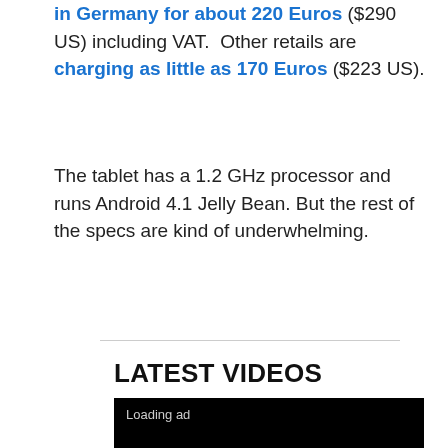in Germany for about 220 Euros ($290 US) including VAT.  Other retails are charging as little as 170 Euros ($223 US).
The tablet has a 1.2 GHz processor and runs Android 4.1 Jelly Bean. But the rest of the specs are kind of underwhelming.
LATEST VIDEOS
[Figure (screenshot): Video player showing a loading ad screen with black background and spinning loading indicator]